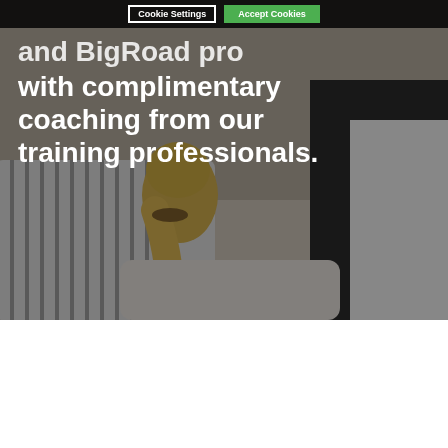[Figure (photo): Training session photo showing people from behind seated in chairs, one person with blonde ponytail in striped shirt raising hand, dark overlay applied, with cookie consent bar at top]
and BigRoad pro
with complimentary coaching from our training professionals.